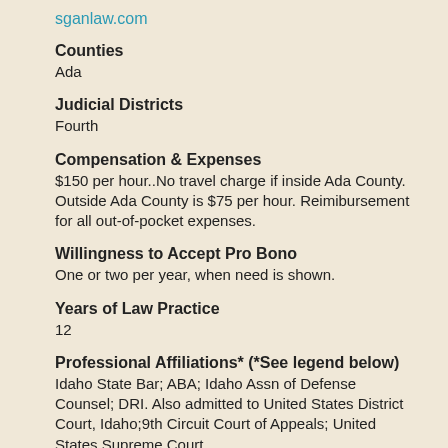sganlaw.com
Counties
Ada
Judicial Districts
Fourth
Compensation & Expenses
$150 per hour..No travel charge if inside Ada County. Outside Ada County is $75 per hour. Reimibursement for all out-of-pocket expenses.
Willingness to Accept Pro Bono
One or two per year, when need is shown.
Years of Law Practice
12
Professional Affiliations* (*See legend below)
Idaho State Bar; ABA; Idaho Assn of Defense Counsel; DRI. Also admitted to United States District Court, Idaho;9th Circuit Court of Appeals; United States Supreme Court.
Education and Training
U of Idaho (BS); University of Idaho (MA); Boston College (JD)